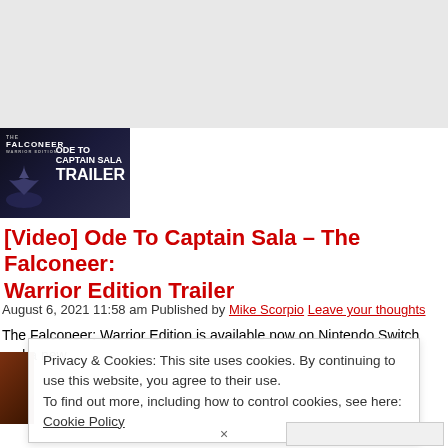[Figure (screenshot): Thumbnail image for The Falconeer: Warrior Edition 'Ode To Captain Sala Trailer' video, showing dark blue stylized game artwork with white bold text]
[Video] Ode To Captain Sala – The Falconeer: Warrior Edition Trailer
August 6, 2021 11:58 am Published by Mike Scorpio Leave your thoughts
The Falconeer: Warrior Edition is available now on Nintendo Switch and a new tra
Privacy & Cookies: This site uses cookies. By continuing to use this website, you agree to their use.
To find out more, including how to control cookies, see here: Cookie Policy